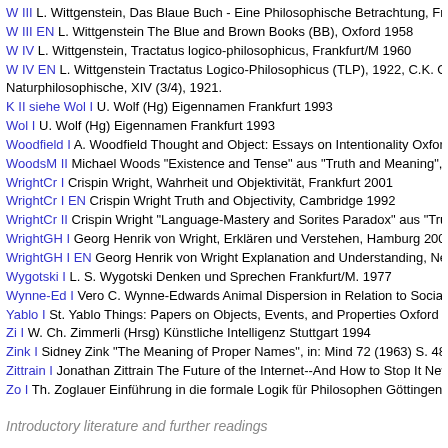W III L. Wittgenstein, Das Blaue Buch - Eine Philosophische Betrachtung, Frankfurt...
W III EN L. Wittgenstein The Blue and Brown Books (BB), Oxford 1958
W IV L. Wittgenstein, Tractatus logico-philosophicus, Frankfurt/M 1960
W IV EN L. Wittgenstein Tractatus Logico-Philosophicus (TLP), 1922, C.K. Ogde... Naturphilosophische, XIV (3/4), 1921.
K II siehe Wol I U. Wolf (Hg) Eigennamen Frankfurt 1993
Wol I U. Wolf (Hg) Eigennamen Frankfurt 1993
Woodfield I A. Woodfield Thought and Object: Essays on Intentionality Oxford 19...
WoodsM II Michael Woods "Existence and Tense" aus "Truth and Meaning", G. B...
WrightCr I Crispin Wright, Wahrheit und Objektivität, Frankfurt 2001
WrightCr I EN Crispin Wright Truth and Objectivity, Cambridge 1992
WrightCr II Crispin Wright "Language-Mastery and Sorites Paradox" aus "Truth a...
WrightGH I Georg Henrik von Wright, Erklären und Verstehen, Hamburg 2008
WrightGH I EN Georg Henrik von Wright Explanation and Understanding, New Yo...
Wygotski I L. S. Wygotski Denken und Sprechen Frankfurt/M. 1977
Wynne-Ed I Vero C. Wynne-Edwards Animal Dispersion in Relation to Social Beh...
Yablo I St. Yablo Things: Papers on Objects, Events, and Properties Oxford 2009...
Zi I W. Ch. Zimmerli (Hrsg) Künstliche Intelligenz Stuttgart 1994
Zink I Sidney Zink "The Meaning of Proper Names", in: Mind 72 (1963) S. 481-49...
Zittrain I Jonathan Zittrain The Future of the Internet--And How to Stop It New Ha...
Zo I Th. Zoglauer Einführung in die formale Logik für Philosophen Göttingen 200...
Introductory literature and further readings
B I J.D. Barrow Warum die Welt mathematisch ist Heidelberg 1998
B II J.D. Barrow Die Natur der Natur Hamburg 1996
B III J.D. Barrow Die Entdeckung des Unmöglichen, Heidelberg 1999
Ba I P. Basieux Die Welt als Roulette Reinbek 1995
Ba II P. Basieux Architektur der Mathematik Reinbek 2000